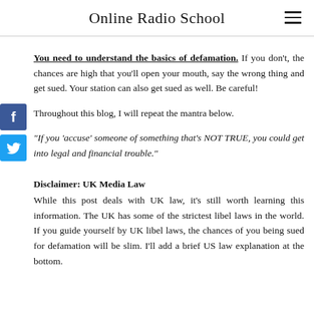Online Radio School
You need to understand the basics of defamation. If you don't, the chances are high that you'll open your mouth, say the wrong thing and get sued. Your station can also get sued as well. Be careful!
Throughout this blog, I will repeat the mantra below.
“If you ‘accuse’ someone of something that’s NOT TRUE, you could get into legal and financial trouble.”
Disclaimer: UK Media Law
While this post deals with UK law, it’s still worth learning this information. The UK has some of the strictest libel laws in the world. If you guide yourself by UK libel laws, the chances of you being sued for defamation will be slim. I’ll add a brief US law explanation at the bottom.